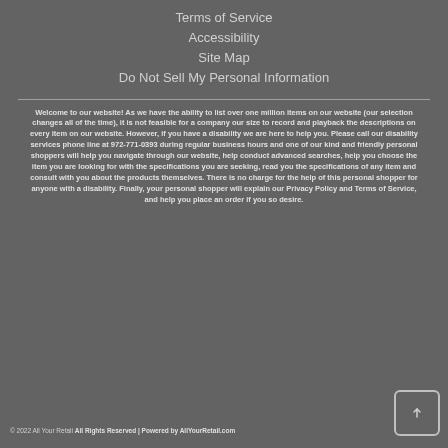Terms of Service
Accessibility
Site Map
Do Not Sell My Personal Information
Welcome to our website! As we have the ability to list over one million items on our website (our selection changes all of the time), it is not feasible for a company our size to record and playback the descriptions on every item on our website. However, if you have a disability we are here to help you. Please call our disability services phone line at 972-771-0393 during regular business hours and one of our kind and friendly personal shoppers will help you navigate through our website, help conduct advanced searches, help you choose the item you are looking for with the specifications you are seeking, read you the specifications of any item and consult with you about the products themselves. There is no charge for the help of this personal shopper for anyone with a disability. Finally, your personal shopper will explain our Privacy Policy and Terms of Service, and help you place an order if you so desire.
© 2022 All Your Retail All Rights Reserved | Powered by AllYourRetail.com